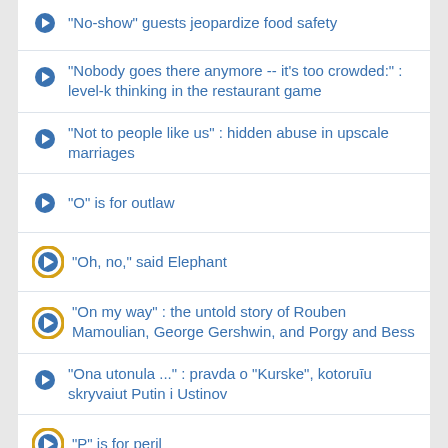"No-show" guests jeopardize food safety
"Nobody goes there anymore -- it's too crowded:" : level-k thinking in the restaurant game
"Not to people like us" : hidden abuse in upscale marriages
"O" is for outlaw
"Oh, no," said Elephant
"On my way" : the untold story of Rouben Mamoulian, George Gershwin, and Porgy and Bess
"Ona utonula ..." : pravda o "Kurske", kotoruīu skryvaiut Putin i Ustinov
"P" is for peril
"Paper" through the ages